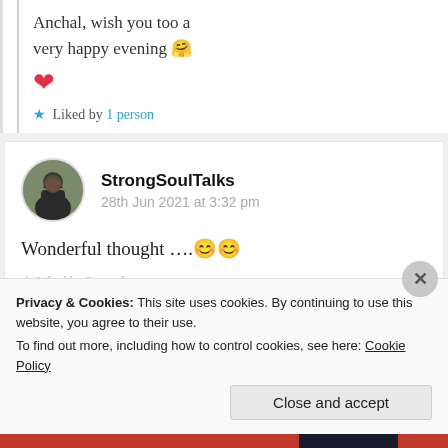Anchal, wish you too a very happy evening 🤗 ❤️
⭐ Liked by 1 person
StrongSoulTalks
28th Jun 2021 at 3:32 pm
Wonderful thought ….😊😊
Privacy & Cookies: This site uses cookies. By continuing to use this website, you agree to their use.
To find out more, including how to control cookies, see here: Cookie Policy
Close and accept